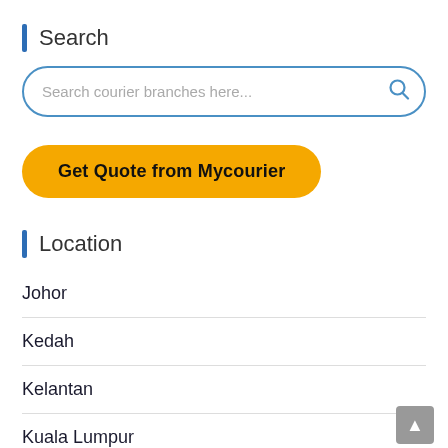Search
Search courier branches here...
Get Quote from Mycourier
Location
Johor
Kedah
Kelantan
Kuala Lumpur
Melaka